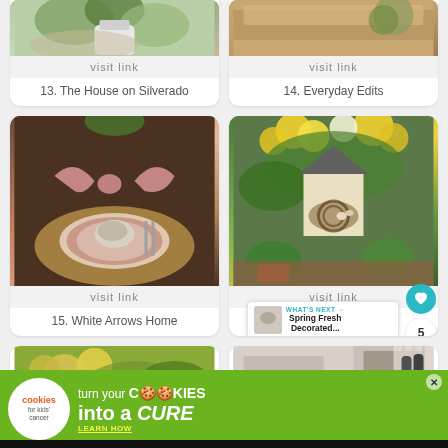[Figure (photo): Partial top of card 13 - The House on Silverado, floral greenery arrangement]
visit link
13. The House on Silverado
[Figure (photo): Partial top of card 14 - Everyday Edits, wicker/straw and plants]
visit link
14. Everyday Edits
[Figure (photo): Card 15 - White Arrows Home, table setting with pink striped bow and bird on plate]
visit link
15. White Arrows Home
[Figure (photo): Card 16 - Stacy Ling, B..., spring floral arrangement with house decor and nest]
visit link
16. Stacy Ling, B...
[Figure (photo): Partially visible card 17 bottom - yellow floral]
[Figure (photo): Partially visible card 18 bottom - interior decor]
[Figure (infographic): Ad banner - cookies for kids cancer - turn your cookies into a cure - learn how]